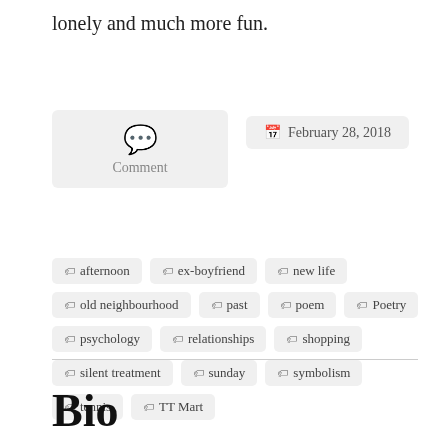lonely and much more fun.
[Figure (other): Comment icon box with speech bubble icon and 'Comment' label, and a date badge showing 'February 28, 2018']
afternoon
ex-boyfriend
new life
old neighbourhood
past
poem
Poetry
psychology
relationships
shopping
silent treatment
sunday
symbolism
tennis
TT Mart
Bio